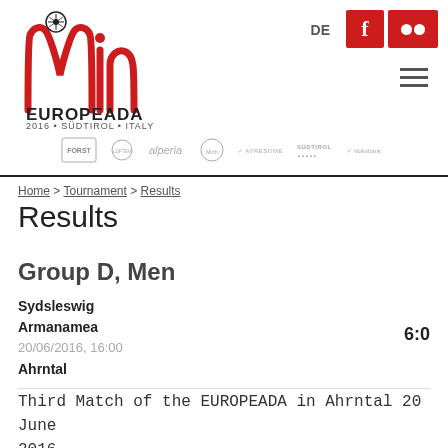[Figure (logo): Europeada 2016 logo with stylized 'Min' text and football, red color, with text EUROPEADA 2016 • SÜDTIROL • ITALY]
DE
[Figure (logo): Facebook icon red square and Flickr icon red rectangle social media icons]
[Figure (logo): Sponsor logos bar: FORST, LÜFTENBAUER, alperia, Milch, AYRESOME, SÜDTIROL, Volksbank]
Home > Tournament > Results
Results
Group D, Men
Sydsleswig
Armanamea
20/06/2016, 16:00
Ahrntal
6:0
Third Match of the EUROPEADA in Ahrntal 20 June 2016